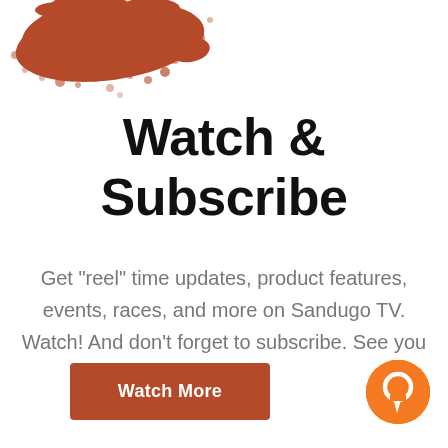[Figure (illustration): Red/rust-colored paint splatter in top-left corner]
Watch & Subscribe
Get "reel" time updates, product features, events, races, and more on Sandugo TV. Watch! And don't forget to subscribe. See you there.
Watch More
[Figure (illustration): Orange circle chat bubble icon in bottom-right corner]